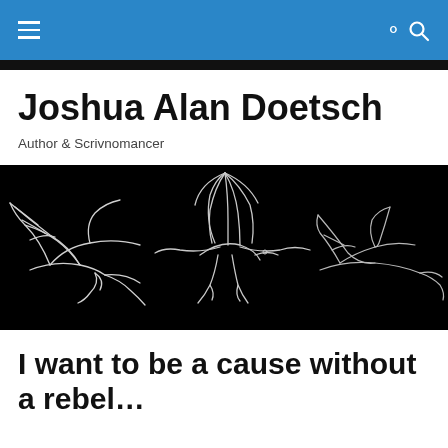Navigation bar with hamburger menu and search icon
Joshua Alan Doetsch
Author & Scrivnomancer
[Figure (illustration): Black background illustration of three birds (possibly magpies or crows) in white line art, appearing to fly or leap in sequence from left to right.]
I want to be a cause without a rebel…